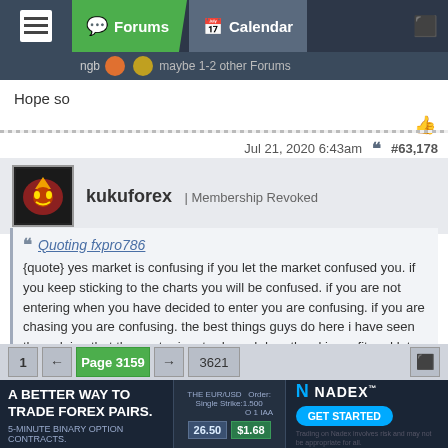Forums | Calendar
Hope so
Jul 21, 2020 6:43am  #63,178
kukuforex | Membership Revoked
Quoting fxpro786
{quote} yes market is confusing if you let the market confused you. if you keep sticking to the charts you will be confused. if you are not entering when you have decided to enter you are confusing. if you are chasing you are confusing. the best things guys do here i have seen them doing that they enter in a trade and drag the sl in profit and let the market run. that;s the best thinggg.. whenever the market wants to reverse that will be the most confusing like EU these days, EJ, AU i think they want to reverse so they are bit confusing gold also...
It is difficult to know when the market will reverse. I think when the market is
1 ← Page 3159 → 3621
[Figure (screenshot): Advertisement banner: 'A BETTER WAY TO TRADE FOREX PAIRS. 5-MINUTE BINARY OPTION CONTRACTS.' with Nadex logo and 'GET STARTED' button]